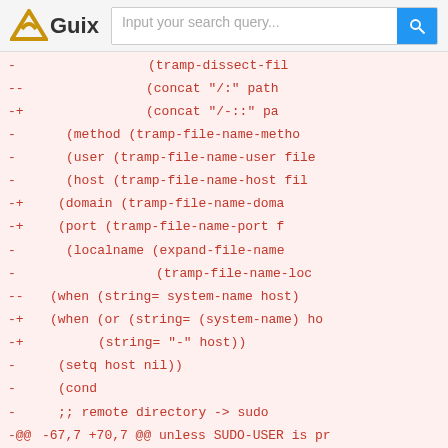Guix — Input your search query...
-                                        (tramp-dissect-fil
--                                            (concat "/:" path
-+                                            (concat "/-::" pa
-          (method  (tramp-file-name-metho
-          (user (tramp-file-name-user file
-          (host  (tramp-file-name-host fil
-+         (domain  (tramp-file-name-doma
-+         (port  (tramp-file-name-port f
-          (localname (expand-file-name
-                               (tramp-file-name-loc
--      (when (string= system-name host)
-+      (when (or (string= (system-name) ho
-+                (string= "-" host))
-        (setq host nil))
-        (cond
-        ;; remote directory -> sudo
-@@ -67,7 +70,7 @@ unless SUDO-USER is pr